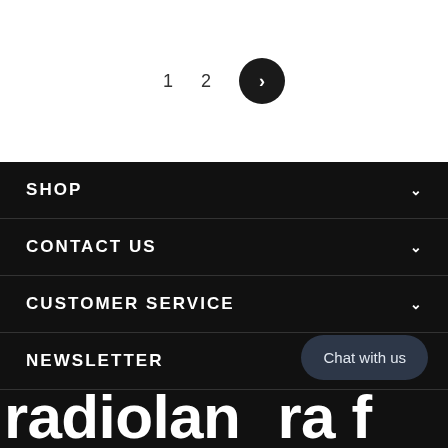1  2  >
SHOP
CONTACT US
CUSTOMER SERVICE
NEWSLETTER
Chat with us
radiolan dra f